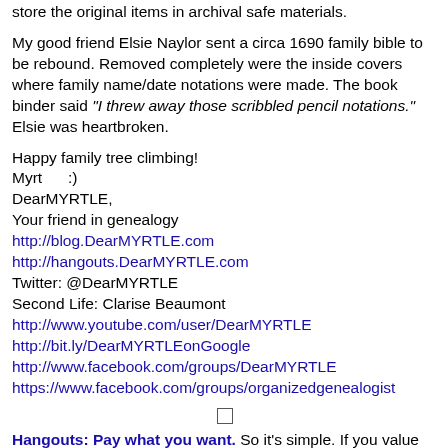store the original items in archival safe materials.
My good friend Elsie Naylor sent a circa 1690 family bible to be rebound. Removed completely were the inside covers where family name/date notations were made. The book binder said "I threw away those scribbled pencil notations." Elsie was heartbroken.
Happy family tree climbing!
Myrt      :)
DearMYRTLE,
Your friend in genealogy
http://blog.DearMYRTLE.com
http://hangouts.DearMYRTLE.com
Twitter: @DearMYRTLE
Second Life: Clarise Beaumont
http://www.youtube.com/user/DearMYRTLE
http://bit.ly/DearMYRTLEonGoogle
http://www.facebook.com/groups/DearMYRTLE
https://www.facebook.com/groups/organizedgenealogist
Hangouts: Pay what you want. So it's simple. If you value